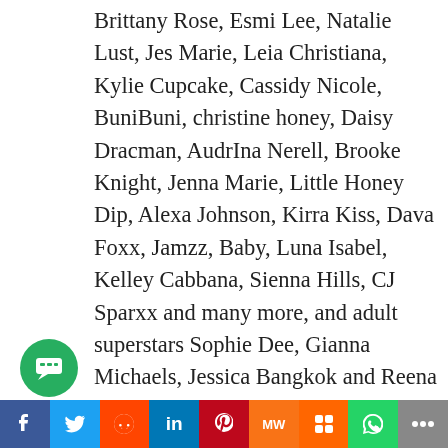Brittany Rose, Esmi Lee, Natalie Lust, Jes Marie, Leia Christiana, Kylie Cupcake, Cassidy Nicole, BuniBuni, christine honey, Daisy Dracman, AudrIna Nerell, Brooke Knight, Jenna Marie, Little Honey Dip, Alexa Johnson, Kirra Kiss, Dava Foxx, Jamzz, Baby, Luna Isabel, Kelley Cabbana, Sienna Hills, CJ Sparxx and many more, and adult superstars Sophie Dee, Gianna Michaels, Jessica Bangkok and Reena Sky will also be on hand for B2B and fan opportunities.
Sponsors include: Model Centro, CamPlace, Freewebcams, Cams.com, Naked.com, Playboy Live, XCams, Cam4, Freewebcams, Xlove Cams,
f  Twitter  Reddit  in  Pinterest  MW  Mix  WhatsApp  Share